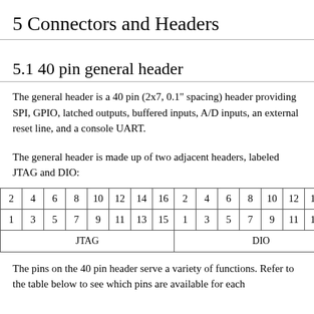5 Connectors and Headers
5.1 40 pin general header
The general header is a 40 pin (2x7, 0.1" spacing) header providing SPI, GPIO, latched outputs, buffered inputs, A/D inputs, an external reset line, and a console UART.
The general header is made up of two adjacent headers, labeled JTAG and DIO:
| 2 | 4 | 6 | 8 | 10 | 12 | 14 | 16 | 2 | 4 | 6 | 8 | 10 | 12 | 14 | … |
| 1 | 3 | 5 | 7 | 9 | 11 | 13 | 15 | 1 | 3 | 5 | 7 | 9 | 11 | 13 | … |
| JTAG | DIO |
The pins on the 40 pin header serve a variety of functions. Refer to the table below to see which pins are available for each